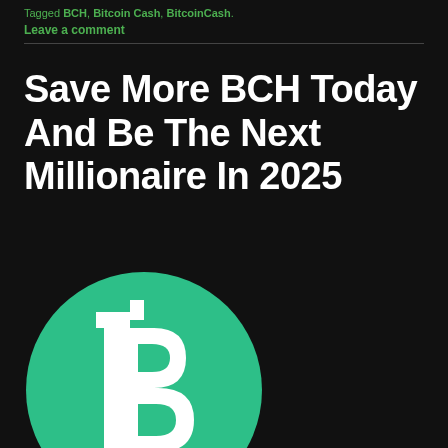Tagged BCH, Bitcoin Cash, BitcoinCash.
Leave a comment
Save More BCH Today And Be The Next Millionaire In 2025
[Figure (logo): Bitcoin Cash (BCH) logo: a green circle with a white Bitcoin B symbol with two vertical lines through it]